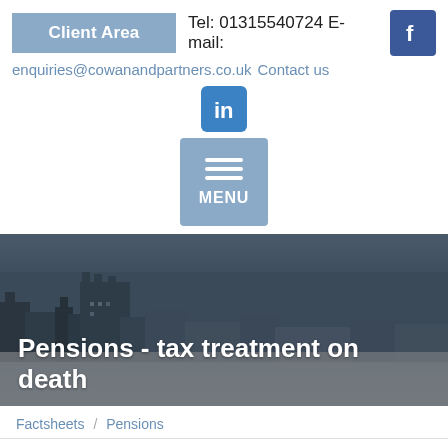Client Area   Tel: 01315540724 E-mail: enquiries@cowanandpartners.co.uk Contact us
[Figure (logo): LinkedIn icon - blue square with 'in' logo]
[Figure (logo): Menu button - blue square with three horizontal lines and MENU text]
[Figure (photo): Hero banner image showing a historic city skyline/buildings with dark sky. Overlay text reads 'Pensions - tax treatment on death']
Pensions - tax treatment on death
Factsheets / Pensions